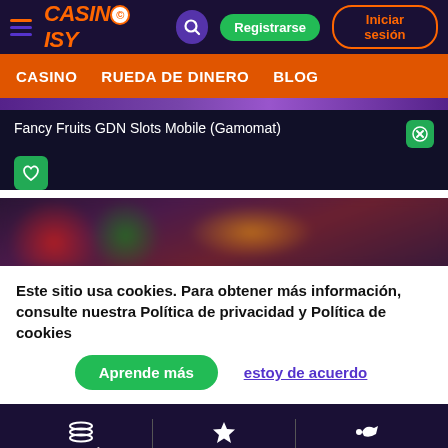[Figure (screenshot): Casinoisy website header with hamburger menu, logo, search icon, Registrarse and Iniciar sesión buttons on dark purple background]
CASINO   RUEDA DE DINERO   BLOG
Fancy Fruits GDN Slots Mobile (Gamomat)
[Figure (screenshot): Blurred slot game preview showing colorful fruit symbols on dark background]
Este sitio usa cookies. Para obtener más información, consulte nuestra Política de privacidad y Política de cookies
Aprende más   estoy de acuerdo
CATEGORÍAS   POPULAR   PROMOTIONS